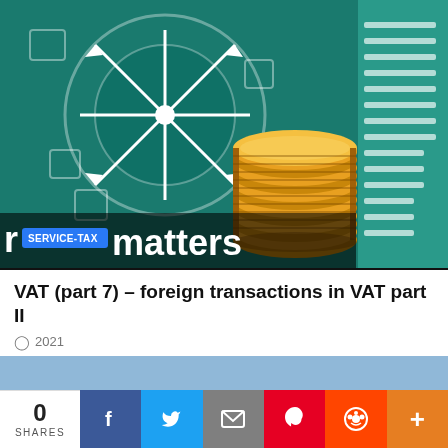[Figure (illustration): Illustration showing a compass/circuit board design on teal background with stack of gold coins on the right, horizontal white lines on far right, and overlay banner with SERVICE-TAX badge and 'matters' text]
VAT (part 7) – foreign transactions in VAT part II
2021
[Figure (illustration): Illustration of three construction workers wearing yellow hard hats on a light blue background]
0 SHARES
f (Facebook share button)
Twitter share button
Email share button
Pinterest share button
Reddit share button
+ more share button